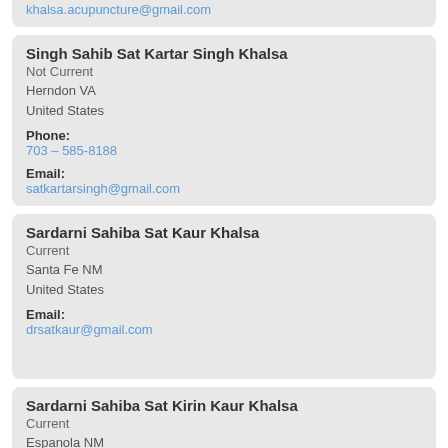khalsa.acupuncture@gmail.com
Singh Sahib Sat Kartar Singh Khalsa
Not Current
Herndon VA
United States
Phone: 703 – 585-8188
Email: satkartarsingh@gmail.com
Sardarni Sahiba Sat Kaur Khalsa
Current
Santa Fe NM
United States
Email: drsatkaur@gmail.com
Sardarni Sahiba Sat Kirin Kaur Khalsa
Current
Espanola NM
United States